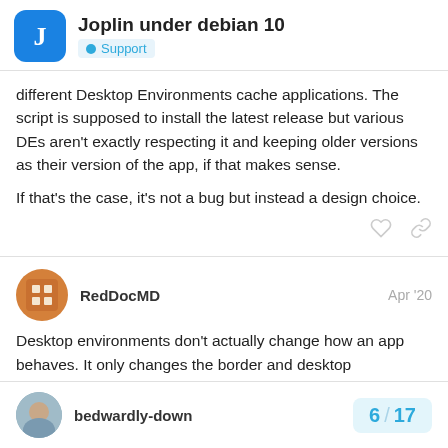Joplin under debian 10 — Support
different Desktop Environments cache applications. The script is supposed to install the latest release but various DEs aren't exactly respecting it and keeping older versions as their version of the app, if that makes sense.

If that's the case, it's not a bug but instead a design choice.
RedDocMD  Apr '20
Desktop environments don't actually change how an app behaves. It only changes the border and desktop
bedwardly-down
6 / 17